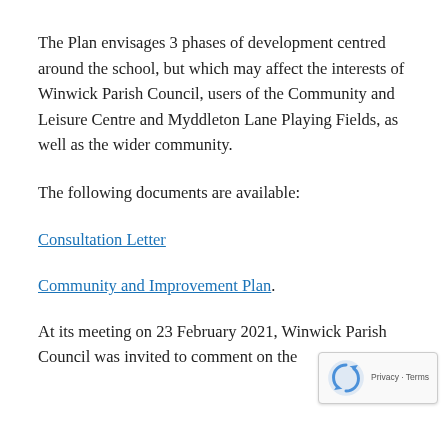The Plan envisages 3 phases of development centred around the school, but which may affect the interests of Winwick Parish Council, users of the Community and Leisure Centre and Myddleton Lane Playing Fields, as well as the wider community.
The following documents are available:
Consultation Letter
Community and Improvement Plan.
At its meeting on 23 February 2021, Winwick Parish Council was invited to comment on the